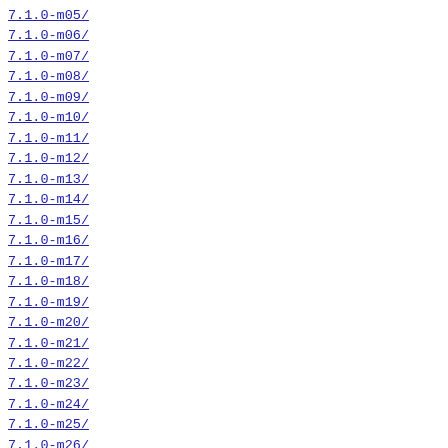7.1.0-m05/
7.1.0-m06/
7.1.0-m07/
7.1.0-m08/
7.1.0-m09/
7.1.0-m10/
7.1.0-m11/
7.1.0-m12/
7.1.0-m13/
7.1.0-m14/
7.1.0-m15/
7.1.0-m16/
7.1.0-m17/
7.1.0-m18/
7.1.0-m19/
7.1.0-m20/
7.1.0-m21/
7.1.0-m22/
7.1.0-m23/
7.1.0-m24/
7.1.0-m25/
7.1.0-m26/
7.1.0-m27/
7.1.0-m28/
7.1.0-m29/
7.1.0-m30/
7.1.0-m31/
7.1.0-m32/
7.1.0-m33/
7.1.0-m34/